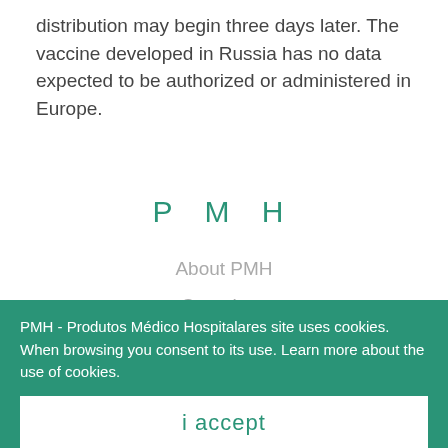distribution may begin three days later. The vaccine developed in Russia has no data expected to be authorized or administered in Europe.
P M H
About PMH
Cronology
Quality
Distributors
PMH - Produtos Médico Hospitalares site uses cookies. When browsing you consent to its use. Learn more about the use of cookies.
i accept